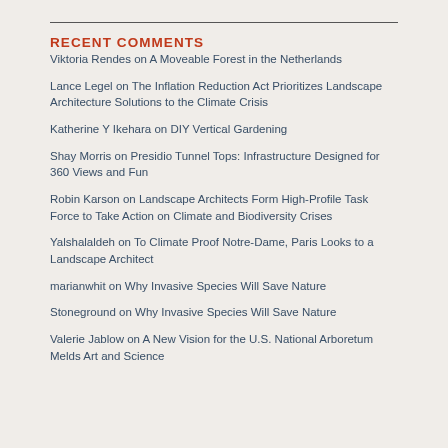RECENT COMMENTS
Viktoria Rendes on A Moveable Forest in the Netherlands
Lance Legel on The Inflation Reduction Act Prioritizes Landscape Architecture Solutions to the Climate Crisis
Katherine Y Ikehara on DIY Vertical Gardening
Shay Morris on Presidio Tunnel Tops: Infrastructure Designed for 360 Views and Fun
Robin Karson on Landscape Architects Form High-Profile Task Force to Take Action on Climate and Biodiversity Crises
Yalshalaldeh on To Climate Proof Notre-Dame, Paris Looks to a Landscape Architect
marianwhit on Why Invasive Species Will Save Nature
Stoneground on Why Invasive Species Will Save Nature
Valerie Jablow on A New Vision for the U.S. National Arboretum Melds Art and Science